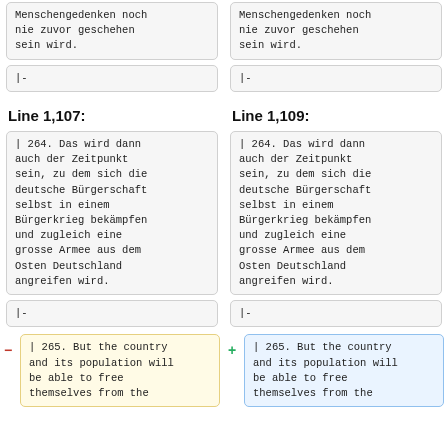Menschengedenken noch nie zuvor geschehen sein wird.
Menschengedenken noch nie zuvor geschehen sein wird.
|-
|-
Line 1,107:
Line 1,109:
| 264. Das wird dann auch der Zeitpunkt sein, zu dem sich die deutsche Bürgerschaft selbst in einem Bürgerkrieg bekämpfen und zugleich eine grosse Armee aus dem Osten Deutschland angreifen wird.
| 264. Das wird dann auch der Zeitpunkt sein, zu dem sich die deutsche Bürgerschaft selbst in einem Bürgerkrieg bekämpfen und zugleich eine grosse Armee aus dem Osten Deutschland angreifen wird.
|-
|-
| 265. But the country and its population will be able to free themselves from the
| 265. But the country and its population will be able to free themselves from the